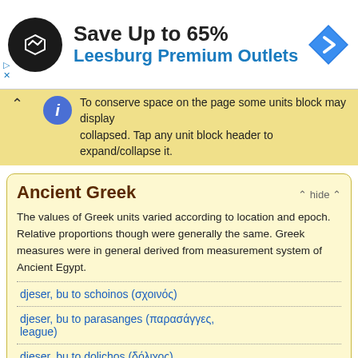[Figure (screenshot): Advertisement banner: Save Up to 65% Leesburg Premium Outlets with logo and navigation icon]
To conserve space on the page some units block may display collapsed. Tap any unit block header to expand/collapse it.
Ancient Greek
The values of Greek units varied according to location and epoch. Relative proportions though were generally the same. Greek measures were in general derived from measurement system of Ancient Egypt.
djeser, bu to schoinos (σχοινός)
djeser, bu to parasanges (παρασάγγες, league)
djeser, bu to dolichos (δόλιχος)
djeser, bu to milion (μίλιον)
djeser, bu to hippikon (ἱππικόν)
djeser, bu to diaulos (δίαυλος)